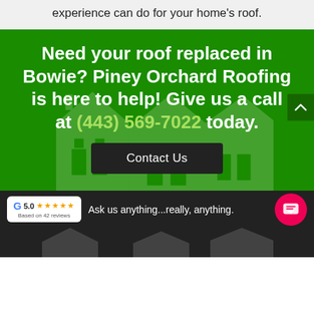experience can do for your home's roof.
Need your roof replaced in Bowie? Piney Orchard Roofing is here to help! Give us a call at (443) 569-7022 today.
Contact Us
Ask us anything...really, anything.
5.0 ★★★★★ Based on 42 reviews